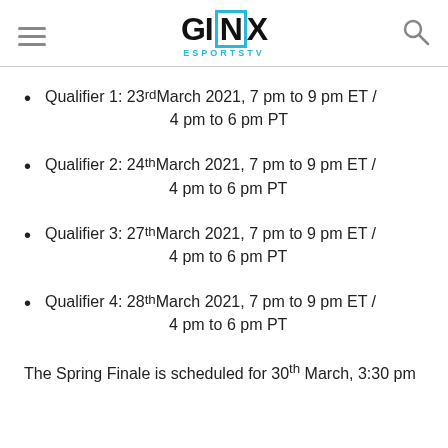GINX ESPORTSTV
Qualifier 1: 23rd March 2021, 7 pm to 9 pm ET / 4 pm to 6 pm PT
Qualifier 2: 24th March 2021, 7 pm to 9 pm ET / 4 pm to 6 pm PT
Qualifier 3: 27th March 2021, 7 pm to 9 pm ET / 4 pm to 6 pm PT
Qualifier 4: 28th March 2021, 7 pm to 9 pm ET / 4 pm to 6 pm PT
The Spring Finale is scheduled for 30th March, 3:30 pm